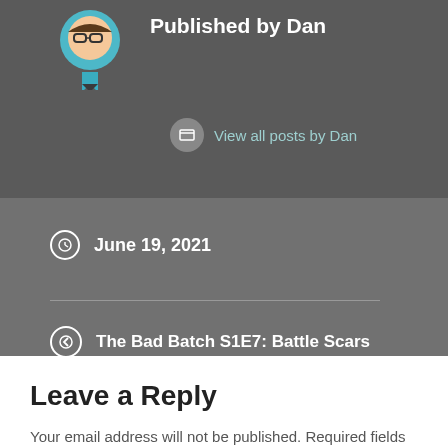Published by Dan
View all posts by Dan
June 19, 2021
The Bad Batch S1E7: Battle Scars
The Bad Batch S1E8: Reunion
Leave a Reply
Your email address will not be published. Required fields are marked